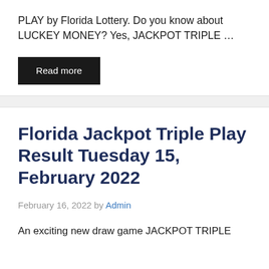PLAY by Florida Lottery. Do you know about LUCKEY MONEY? Yes, JACKPOT TRIPLE …
Read more
Florida Jackpot Triple Play Result Tuesday 15, February 2022
February 16, 2022 by Admin
An exciting new draw game JACKPOT TRIPLE